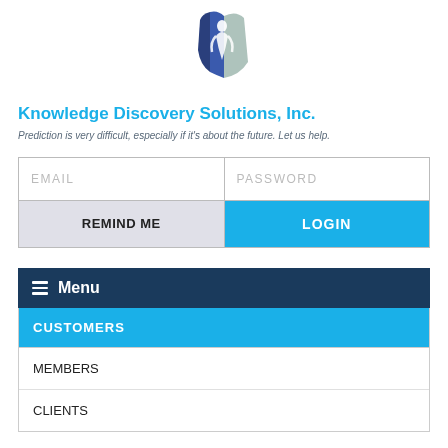[Figure (logo): Knowledge Discovery Solutions Inc. logo — stylized blue and gray shield/figure shape]
Knowledge Discovery Solutions, Inc.
Prediction is very difficult, especially if it's about the future. Let us help.
[Figure (screenshot): Login form with EMAIL and PASSWORD fields, REMIND ME and LOGIN buttons]
Menu
CUSTOMERS
MEMBERS
CLIENTS